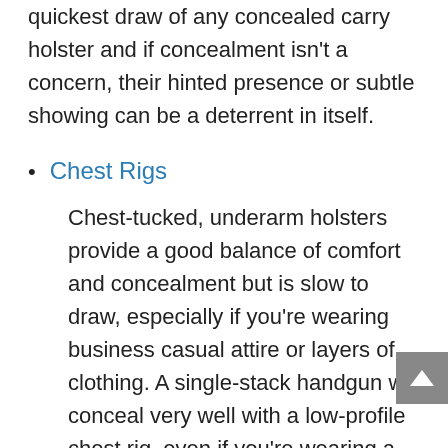quickest draw of any concealed carry holster and if concealment isn't a concern, their hinted presence or subtle showing can be a deterrent in itself.
Chest Rigs
Chest-tucked, underarm holsters provide a good balance of comfort and concealment but is slow to draw, especially if you're wearing business casual attire or layers of clothing. A single-stack handgun will conceal very well with a low-profile chest rig, even if you're wearing a plain tee. Chest rigs often come with two pouches – one under each arm – making them great for carrying extra magazines. If you'm